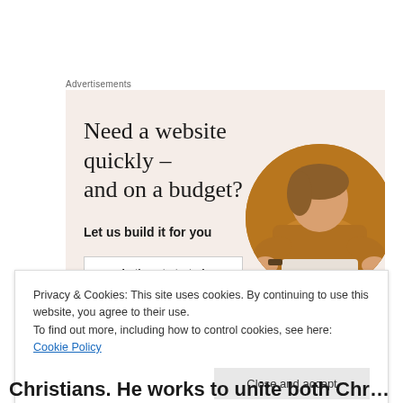Advertisements
[Figure (illustration): Advertisement banner with beige/pink background. Headline reads 'Need a website quickly – and on a budget?' with subtext 'Let us build it for you', a 'Let's get started' button, and a circular photo of a person working.]
Privacy & Cookies: This site uses cookies. By continuing to use this website, you agree to their use.
To find out more, including how to control cookies, see here: Cookie Policy
Christians. He works to unite both Christians who believe